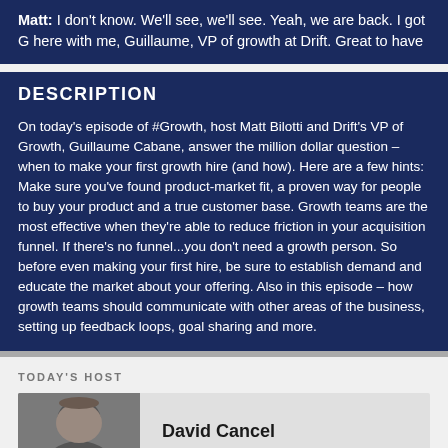Matt: I don't know. We'll see, we'll see. Yeah, we are back. I got G here with me, Guillaume, VP of growth at Drift. Great to have
DESCRIPTION
On today's episode of #Growth, host Matt Bilotti and Drift's VP of Growth, Guillaume Cabane, answer the million dollar question – when to make your first growth hire (and how). Here are a few hints: Make sure you've found product-market fit, a proven way for people to buy your product and a true customer base. Growth teams are the most effective when they're able to reduce friction in your acquisition funnel. If there's no funnel...you don't need a growth person. So before even making your first hire, be sure to establish demand and educate the market about your offering. Also in this episode – how growth teams should communicate with other areas of the business, setting up feedback loops, goal sharing and more.
TODAY'S HOST
David Cancel